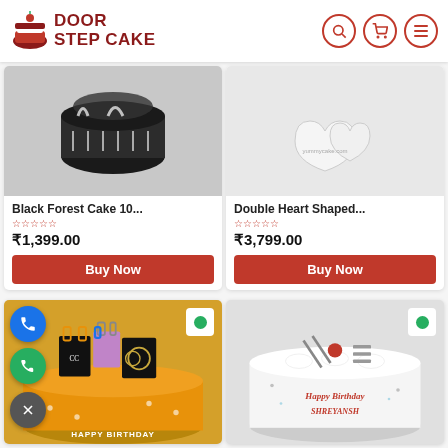DOOR STEP CAKE
Black Forest Cake 10...
₹1,399.00
Buy Now
Double Heart Shaped...
₹3,799.00
Buy Now
[Figure (photo): Orange birthday cake with designer bags (Chanel, Gucci) decorations on top, with Happy Birthday text]
[Figure (photo): White cream cake with Happy Birthday Shreyansh written in red icing, with a cherry and decorations on top]